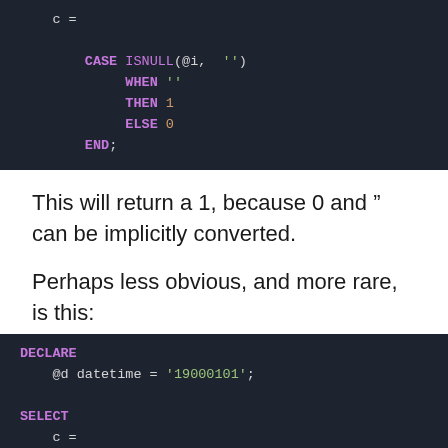[Figure (screenshot): SQL code block showing CASE ISNULL(@i, '') WHEN '' THEN 1 ELSE 0 END with syntax highlighting on dark background]
This will return a 1, because 0 and '' can be implicitly converted.
Perhaps less obvious, and more rare, is this:
[Figure (screenshot): SQL code block showing DECLARE @d datetime = '19000101'; SELECT C = CASE ISNULL(@d, '') with syntax highlighting on dark background]